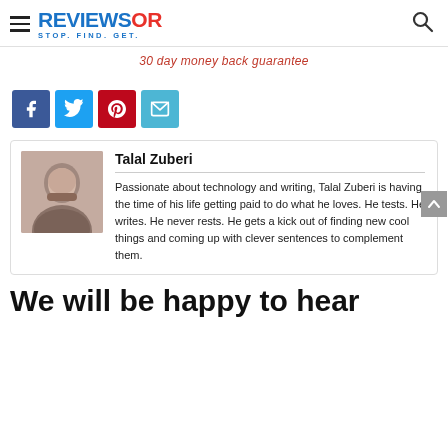REVIEWSOR STOP. FIND. GET.
30 day money back guarantee
[Figure (other): Social share buttons: Facebook, Twitter, Pinterest, Email]
Talal Zuberi

Passionate about technology and writing, Talal Zuberi is having the time of his life getting paid to do what he loves. He tests. He writes. He never rests. He gets a kick out of finding new cool things and coming up with clever sentences to complement them.
We will be happy to hear